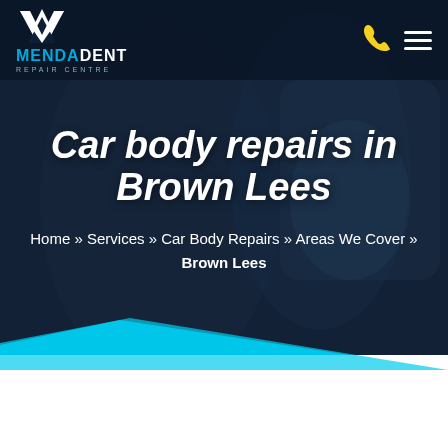[Figure (logo): Mendadent Repair Centre logo with white M chevron icon above text 'MENDADENT' in blue/white and 'REPAIR CENTRE' subtitle]
Car body repairs in Brown Lees
Home » Services » Car Body Repairs » Areas We Cover » Brown Lees